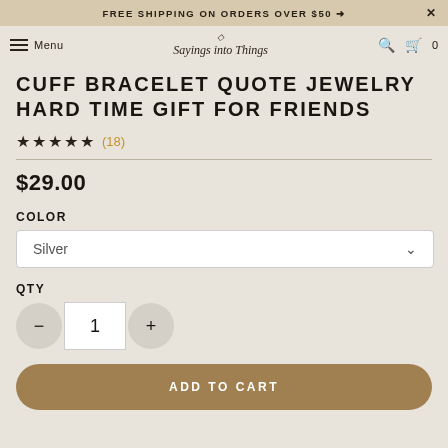FREE SHIPPING ON ORDERS OVER $50 →  ×
Menu  Sayings into Things  🔍  🛒 0
CUFF BRACELET QUOTE JEWELRY HARD TIME GIFT FOR FRIENDS
★★★★★ (18)
$29.00
COLOR
Silver
QTY
— 1 +
ADD TO CART